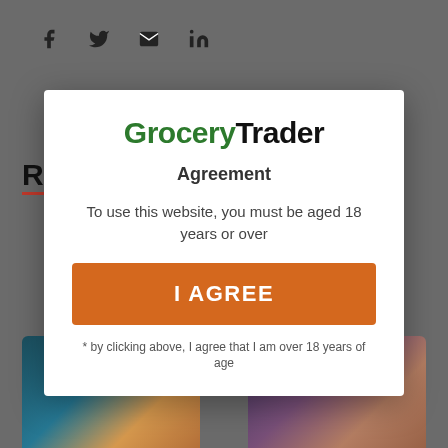[Figure (screenshot): Dark gray website background with social media icons (Facebook, Twitter, Email, LinkedIn) at top, partial bold heading 'RE' with red underline, and two blurred product image thumbnails at the bottom]
[Figure (screenshot): White modal dialog popup for age verification on Grocery Trader website]
Grocery Trader
Agreement
To use this website, you must be aged 18 years or over
I AGREE
* by clicking above, I agree that I am over 18 years of age